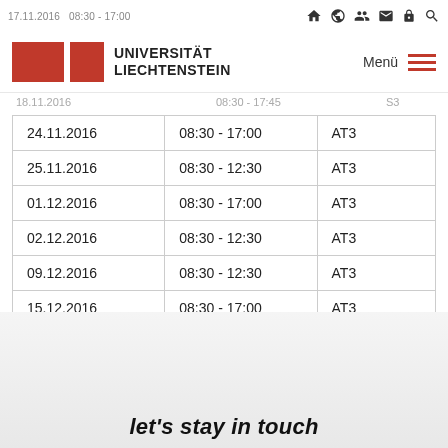17.11.2016  08:30 - 17:00  AT3
[Figure (logo): Universität Liechtenstein logo with red boxes and text]
| 24.11.2016 | 08:30 - 17:00 | AT3 |
| 25.11.2016 | 08:30 - 12:30 | AT3 |
| 01.12.2016 | 08:30 - 17:00 | AT3 |
| 02.12.2016 | 08:30 - 12:30 | AT3 |
| 09.12.2016 | 08:30 - 12:30 | AT3 |
| 15.12.2016 | 08:30 - 17:00 | AT3 |
| 16.12.2016 | 08:30 - 12:30 | AT3 |
let's stay in touch